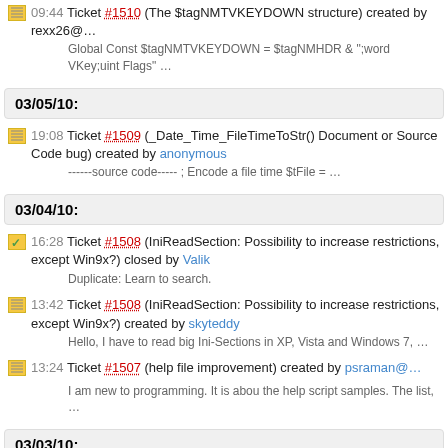09:44 Ticket #1510 (The $tagNMTVKEYDOWN structure) created by rexx26@…
Global Const $tagNMTVKEYDOWN = $tagNMHDR & ";word VKey;uint Flags" …
03/05/10:
19:08 Ticket #1509 (_Date_Time_FileTimeToStr() Document or Source Code bug) created by anonymous
------source code----- ; Encode a file time $tFile = …
03/04/10:
16:28 Ticket #1508 (IniReadSection: Possibility to increase restrictions, except Win9x?) closed by Valik
Duplicate: Learn to search.
13:42 Ticket #1508 (IniReadSection: Possibility to increase restrictions, except Win9x?) created by skyteddy
Hello, I have to read big Ini-Sections in XP, Vista and Windows 7, …
13:24 Ticket #1507 (help file improvement) created by psraman@…
I am new to programming. It is abou the help script samples. The list, …
03/03/10: